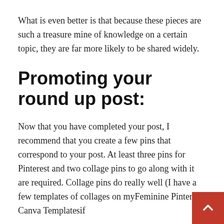What is even better is that because these pieces are such a treasure mine of knowledge on a certain topic, they are far more likely to be shared widely.
Promoting your round up post:
Now that you have completed your post, I recommend that you create a few pins that correspond to your post. At least three pins for Pinterest and two collage pins to go along with it are required. Collage pins do really well (I have a few templates of collages on myFeminine Pinterest Canva Templatesif